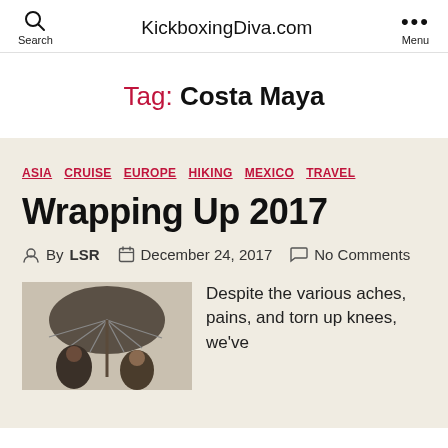Search  KickboxingDiva.com  Menu
Tag: Costa Maya
ASIA  CRUISE  EUROPE  HIKING  MEXICO  TRAVEL
Wrapping Up 2017
By LSR  December 24, 2017  No Comments
[Figure (photo): Two people standing under a large umbrella]
Despite the various aches, pains, and torn up knees, we've